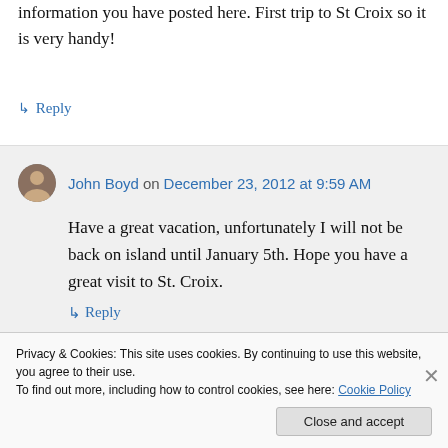information you have posted here. First trip to St Croix so it is very handy!
↳ Reply
John Boyd on December 23, 2012 at 9:59 AM
Have a great vacation, unfortunately I will not be back on island until January 5th. Hope you have a great visit to St. Croix.
↳ Reply
Privacy & Cookies: This site uses cookies. By continuing to use this website, you agree to their use. To find out more, including how to control cookies, see here: Cookie Policy
Close and accept